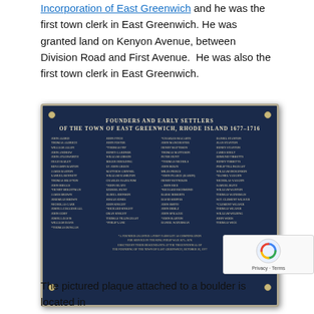Incorporation of East Greenwich and he was the first town clerk in East Greenwich. He was granted land on Kenyon Avenue, between Division Road and First Avenue. He was also the first town clerk in East Greenwich.
[Figure (photo): A dark blue/navy commemorative bronze plaque mounted on a boulder. The plaque reads 'Founders and Early Settlers of the Town of East Greenwich, Rhode Island 1677-1716' followed by a list of names in four columns. Footer text mentions a founder granted a first farm lot as compensation for service in the King Philip War 1675-1676, erected by their descendants at the founding of the Town of East Greenwich, October 26, 1977.]
The pictured plaque attached to a boulder is located in...